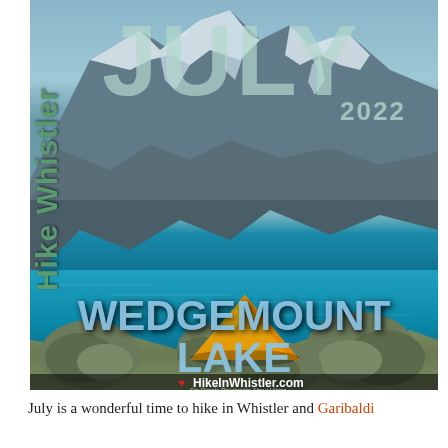[Figure (photo): Cover image of Wedgemount Lake in Whistler with a yellow tent in the foreground, turquoise glacial lake in the middle, snow-capped mountains with glaciers in the background. Overlaid text reads JULY 2022, Hike Whistler (vertical), WEDGEMOUNT LAKE, and HikeInWhistler.com]
July is a wonderful time to hike in Whistler and Garibaldi